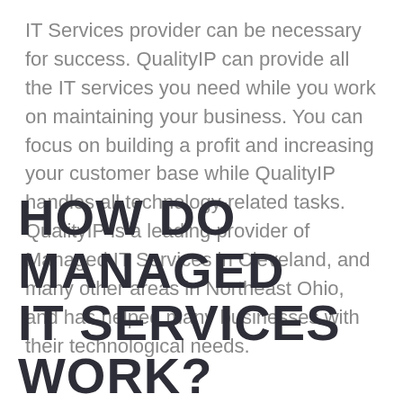IT Services provider can be necessary for success. QualityIP can provide all the IT services you need while you work on maintaining your business. You can focus on building a profit and increasing your customer base while QualityIP handles all technology-related tasks. QualityIP is a leading provider of Managed IT Services in Cleveland, and many other areas in Northeast Ohio, and has helped many businesses with their technological needs.
HOW DO MANAGED IT SERVICES WORK?